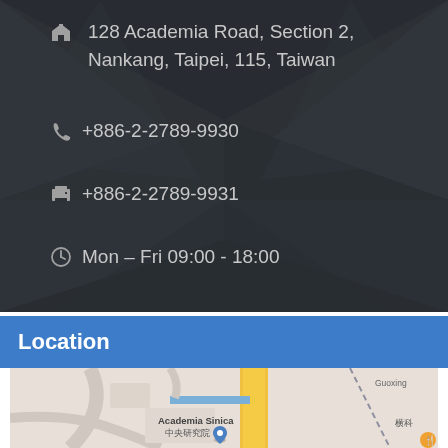🏠 128 Academia Road, Section 2, Nankang, Taipei, 115, Taiwan
📞 +886-2-2789-9930
🖨 +886-2-2789-9931
🕐 Mon – Fri 09:00 - 18:00
Location
[Figure (map): Google Maps view showing Academia Sinica (中央研究院) in Nankang, Taipei, Taiwan with a location pin marker. Nearby labels include Guoxing road and a restaurant icon.]